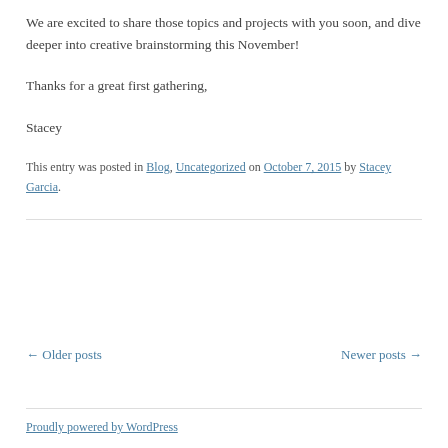We are excited to share those topics and projects with you soon, and dive deeper into creative brainstorming this November!
Thanks for a great first gathering,
Stacey
This entry was posted in Blog, Uncategorized on October 7, 2015 by Stacey Garcia.
← Older posts
Newer posts →
Proudly powered by WordPress